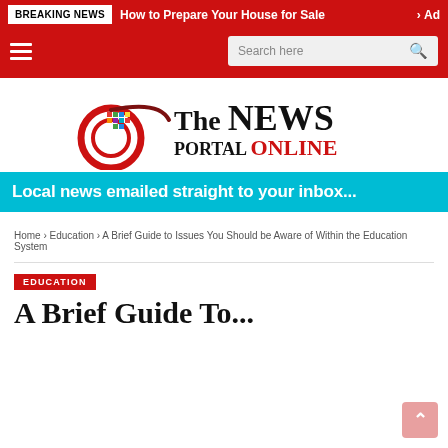BREAKING NEWS  How to Prepare Your House for Sale  > Ad
[Figure (screenshot): Navigation bar with hamburger menu and search box on red background]
[Figure (logo): The News Portal ONLINE logo with colorful icon]
[Figure (infographic): Cyan banner: Local news emailed straight to your inbox...]
Home > Education > A Brief Guide to Issues You Should be Aware of Within the Education System
EDUCATION
A Brief Guide To...